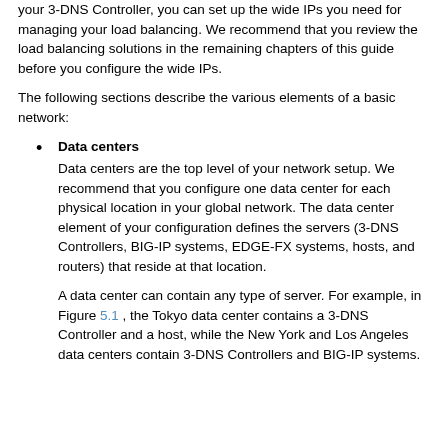your 3-DNS Controller, you can set up the wide IPs you need for managing your load balancing. We recommend that you review the load balancing solutions in the remaining chapters of this guide before you configure the wide IPs.
The following sections describe the various elements of a basic network:
Data centers
Data centers are the top level of your network setup. We recommend that you configure one data center for each physical location in your global network. The data center element of your configuration defines the servers (3-DNS Controllers, BIG-IP systems, EDGE-FX systems, hosts, and routers) that reside at that location.

A data center can contain any type of server. For example, in Figure 5.1 , the Tokyo data center contains a 3-DNS Controller and a host, while the New York and Los Angeles data centers contain 3-DNS Controllers and BIG-IP systems.